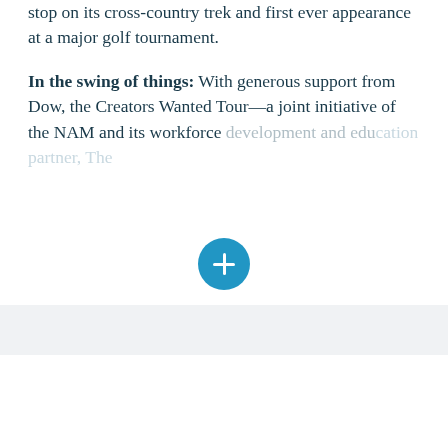stop on its cross-country trek and first ever appearance at a major golf tournament.
In the swing of things: With generous support from Dow, the Creators Wanted Tour—a joint initiative of the NAM and its workforce development and education partner, The [obscured text]
[Figure (other): A circular blue button with a white plus (+) sign, overlaid on the text content]
Workforce
“You’re Your Own Limit”: